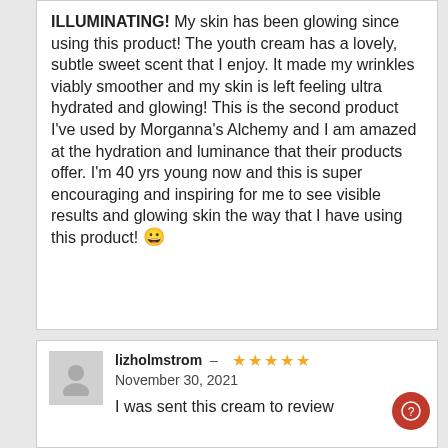ILLUMINATING! My skin has been glowing since using this product! The youth cream has a lovely, subtle sweet scent that I enjoy. It made my wrinkles viably smoother and my skin is left feeling ultra hydrated and glowing! This is the second product I've used by Morganna's Alchemy and I am amazed at the hydration and luminance that their products offer. I'm 40 yrs young now and this is super encouraging and inspiring for me to see visible results and glowing skin the way that I have using this product! 😀
[Figure (illustration): Default user avatar icon - grey silhouette of a person]
lizholmstrom – ★★★★★ November 30, 2021 I was sent this cream to review